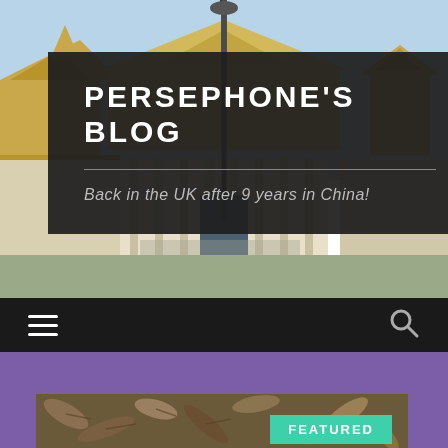[Figure (photo): Background photo of a Southeast Asian temple/palace building (likely Phnom Penh Royal Palace) with ornate golden rooftops, columns, and a lamp post, under a blue sky.]
PERSEPHONE'S BLOG
Back in the UK after 9 years in China!
[Figure (other): Navigation bar with hamburger menu icon on left and magnifying glass search icon on right, dark background.]
[Figure (photo): Background section with purple color and a partial photo of dry leaves/debris at the bottom with a teal 'FEATURED' badge.]